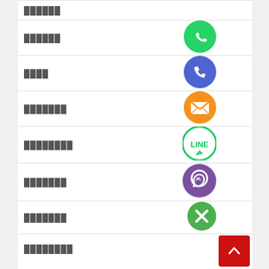██████
[Figure (logo): WhatsApp green circle icon]
████
[Figure (logo): Phone call blue circle icon]
███████
[Figure (logo): Email/envelope orange circle icon]
████████
[Figure (logo): LINE green circle icon]
███████
[Figure (logo): Viber purple circle icon]
███████
[Figure (logo): Close/X green circle icon]
████████